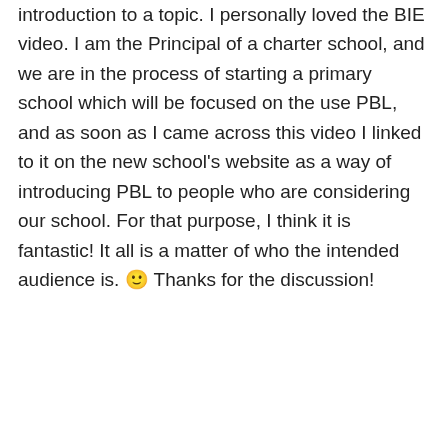introduction to a topic. I personally loved the BIE video. I am the Principal of a charter school, and we are in the process of starting a primary school which will be focused on the use PBL, and as soon as I came across this video I linked to it on the new school's website as a way of introducing PBL to people who are considering our school. For that purpose, I think it is fantastic! It all is a matter of who the intended audience is. 🙂 Thanks for the discussion!